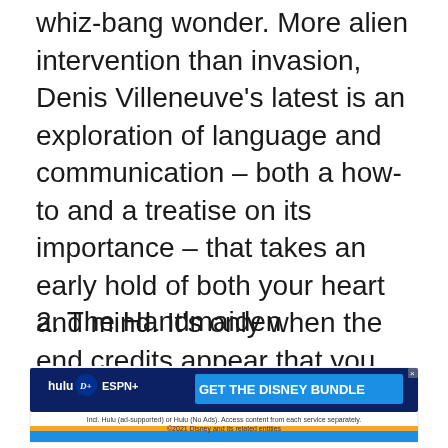whiz-bang wonder. More alien intervention than invasion, Denis Villeneuve's latest is an exploration of language and communication – both a how-to and a treatise on its importance – that takes an early hold of both your heart and mind. It's only when the end credits appear that you realize just how tight of a grip it's had on both.
2. The Handmaiden
[Figure (other): Advertisement banner: Hulu, Disney+, ESPN+ logos with 'GET THE DISNEY BUNDLE' call to action. Fine print: Incl. Hulu (ad-supported) or Hulu (No Ads). Access content from each service separately. ©2021 Disney and its related entities]